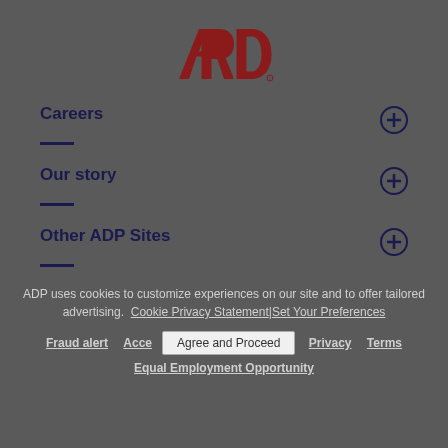[Figure (logo): ADP logo in dark red with stylized letters A, D, P]
Careers
Our story
Other ADP Sites
ADP uses cookies to customize experiences on our site and to offer tailored advertising.  Cookie Privacy Statement | Set Your Preferences
Fraud alert   Accessibility   Agree and Proceed   Privacy   Terms
Equal Employment Opportunity